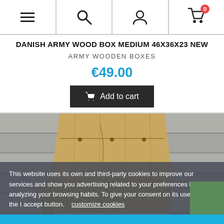Navigation bar with menu, search, account, and cart icons
DANISH ARMY WOOD BOX MEDIUM 46X36X23 NEW
ARMY WOODEN BOXES
€49.00
Add to cart
[Figure (photo): A Danish army wooden box in tan/khaki color viewed from above, set against a grey wooden plank background. Store watermark partially visible.]
This website uses its own and third-party cookies to improve our services and show you advertising related to your preferences by analyzing your browsing habits. To give your consent on its use, press the I accept button.    customize cookies